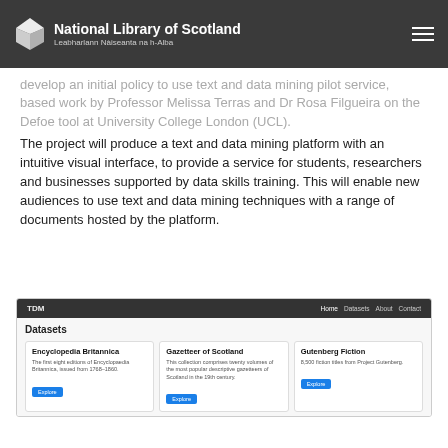National Library of Scotland | Leabharlann Nàiseanta na h-Alba
…develop an initial policy to use text and data mining pilot service, based work by Professor Melissa Terras and Dr Rosa Filgueira on the Defoe tool at University College London (UCL).
The project will produce a text and data mining platform with an intuitive visual interface, to provide a service for students, researchers and businesses supported by data skills training. This will enable new audiences to use text and data mining techniques with a range of documents hosted by the platform.
[Figure (screenshot): Screenshot of a TDM (Text and Data Mining) web platform showing a navigation bar with 'TDM' logo and links (Home, Datasets, About, Contact), a Datasets section with three dataset cards: Encyclopedia Britannica, Gazetteer of Scotland, and Gutenberg Fiction, each with a description and an Explore button.]